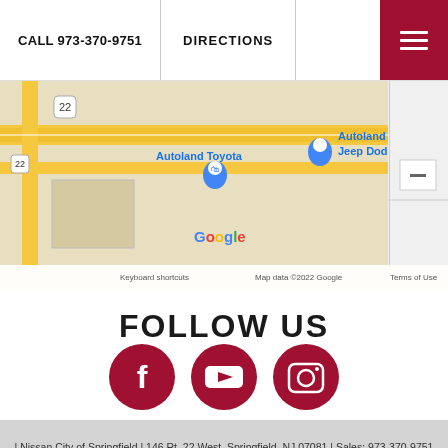CALL 973-370-9751   DIRECTIONS
[Figure (map): Google Maps screenshot showing Autoland Toyota and Autoland Chrysler Jeep Dodge Ram locations on Route 22 in Springfield, NJ. Map data ©2022 Google.]
FOLLOW US
[Figure (infographic): Three circular crimson social media icons: Facebook (f), YouTube (play button), Instagram (camera)]
| Nissan City of Springfield | 146 Rt. 22 West, Springfield, NJ 07081 | Sales: 973-370-9751 | Contact Us | Privacy | Sitemap | NissanUSA.com
An Integrity Automotive Dealership